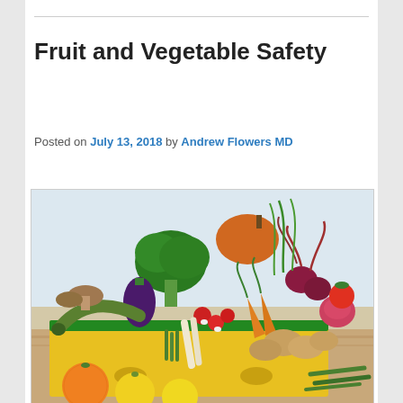Fruit and Vegetable Safety
Posted on July 13, 2018 by Andrew Flowers MD
[Figure (photo): A box filled with a large variety of fresh vegetables and fruits including broccoli, carrots, radishes, potatoes, eggplant, zucchini, beets, tomatoes, mushrooms, green beans, oranges, and lemons, arranged in and around a yellow and green crate on a wooden surface.]